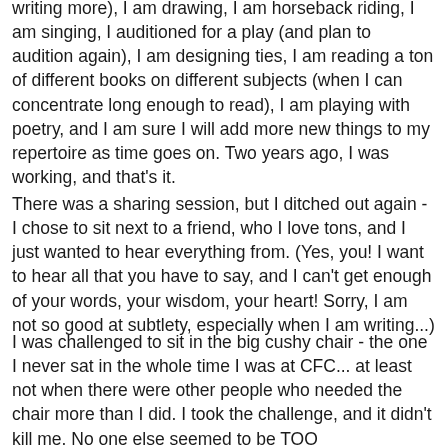writing more), I am drawing, I am horseback riding, I am singing, I auditioned for a play (and plan to audition again), I am designing ties, I am reading a ton of different books on different subjects (when I can concentrate long enough to read), I am playing with poetry, and I am sure I will add more new things to my repertoire as time goes on. Two years ago, I was working, and that's it.
There was a sharing session, but I ditched out again - I chose to sit next to a friend, who I love tons, and I just wanted to hear everything from. (Yes, you! I want to hear all that you have to say, and I can't get enough of your words, your wisdom, your heart! Sorry, I am not so good at subtlety, especially when I am writing...)
I was challenged to sit in the big cushy chair - the one I never sat in the whole time I was at CFC... at least not when there were other people who needed the chair more than I did. I took the challenge, and it didn't kill me. No one else seemed to be TOO uncomfortable. (I expect someone else to sit in that chair next time though!) We sang the new CFC choir song... I might be a little biased, but I do believe ours